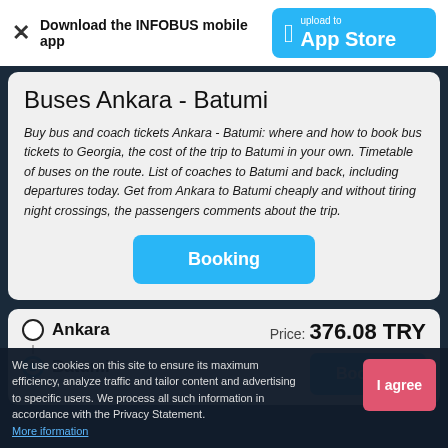Download the INFOBUS mobile app | upload to App Store
Buses Ankara - Batumi
Buy bus and coach tickets Ankara - Batumi: where and how to book bus tickets to Georgia, the cost of the trip to Batumi in your own. Timetable of buses on the route. List of coaches to Batumi and back, including departures today. Get from Ankara to Batumi cheaply and without tiring night crossings, the passengers comments about the trip.
Booking
Ankara | Price: 376.08 TRY | Batumi | Booking
We use cookies on this site to ensure its maximum efficiency, analyze traffic and tailor content and advertising to specific users. We process all such information in accordance with the Privacy Statement. More information